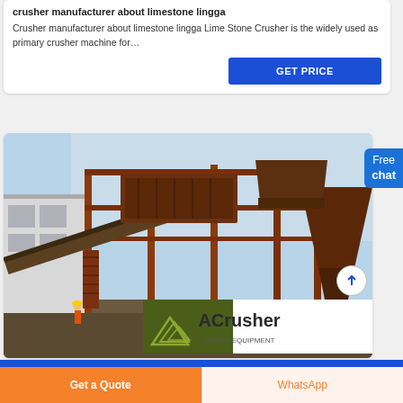crusher manufacturer about limestone lingga
Crusher manufacturer about limestone lingga Lime Stone Crusher is the widely used as primary crusher machine for…
GET PRICE
[Figure (photo): Industrial limestone crusher / mining equipment plant with orange steel frame structures, conveyor belts, and cone crushers on a construction site. ACrusher Mining Equipment logo visible at bottom right.]
Free chat
Get a Quote
WhatsApp